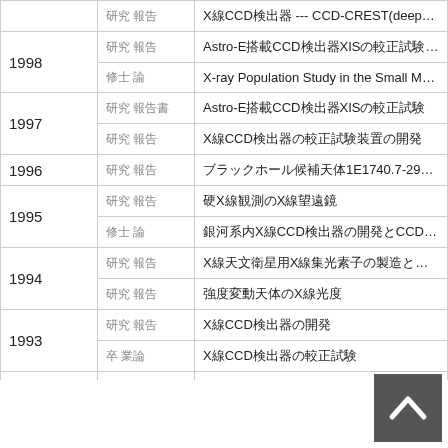| 年 | 種別 | タイトル |
| --- | --- | --- |
|  | 研究 報告 | X線CCD検出器 --- CCD-CREST(deep2) --- の開発 |
| 1998 | 研究 報告 | Astro-E搭載CCD検出器XISの較正試験装置の開発 |
| 1998 | 修士 論 | X-ray Population Study in the Small Magel… |
| 1997 | 研究 報告書 | Astro-E搭載CCD検出器XISの較正試験 |
| 1997 | 研究 報告 | X線CCD検出器の較正試験装置の開発 |
| 1996 | 研究 報告 | ブラックホール候補天体1E1740.7-2942-軟X線に見える極大-の研究 |
| 1995 | 研究 報告 | 硬X線観測のX線望遠鏡 |
| 1995 | 修士 論 | 銀河系内X線CCD検出器の開発とCCDの較正試験 |
| 1994 | 研究 報告 | X線天文衛星用X線集光素子の製造とその評価試験および宇宙環境試験 |
| 1994 | 研究 報告 | 強度変動天体のX線光度 |
| 1993 | 研究 報告 | X線CCD検出器の開発 |
| 1993 | 卒 業論 | X線CCD検出器の較正試験 |
| 1992 | 研究 報告 | 電波銀河 Cyg A のX線観測 |